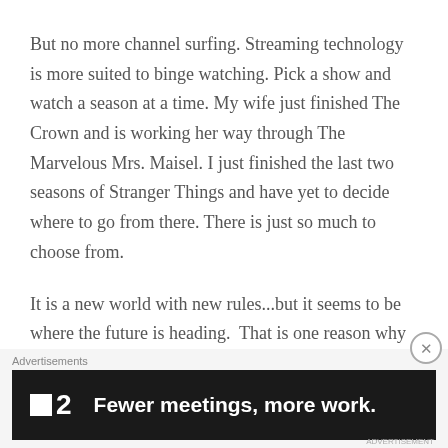But no more channel surfing. Streaming technology is more suited to binge watching. Pick a show and watch a season at a time. My wife just finished The Crown and is working her way through The Marvelous Mrs. Maisel. I just finished the last two seasons of Stranger Things and have yet to decide where to go from there. There is just so much to choose from.
It is a new world with new rules...but it seems to be where the future is heading. That is one reason why we offer Digital Video Archive as a part of our Home Video Studio services. Digital Video Archive (DVA) is
[Figure (other): Advertisement banner with dark background showing a logo with a small white square and the number 2, alongside bold white text reading 'Fewer meetings, more work.' with an 'Advertisements' label above and a close button (X circle) at top right.]